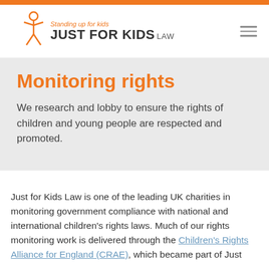Standing up for kids JUST FOR KIDS LAW
Monitoring rights
We research and lobby to ensure the rights of children and young people are respected and promoted.
Just for Kids Law is one of the leading UK charities in monitoring government compliance with national and international children's rights laws. Much of our rights monitoring work is delivered through the Children's Rights Alliance for England (CRAE), which became part of Just